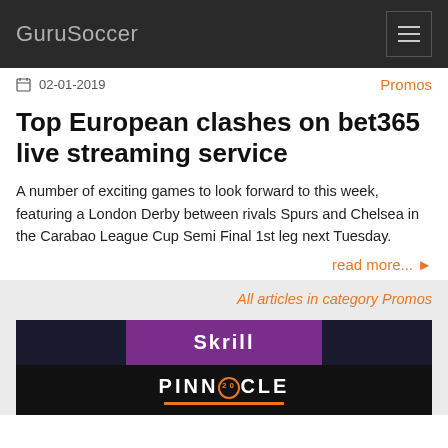GuruSoccer
02-01-2019
Promos
Top European clashes on bet365 live streaming service
A number of exciting games to look forward to this week, featuring a London Derby between rivals Spurs and Chelsea in the Carabao League Cup Semi Final 1st leg next Tuesday.
read more...
All articles in category Promos
[Figure (screenshot): Skrill and Pinnacle logos/banners at the bottom of the page]